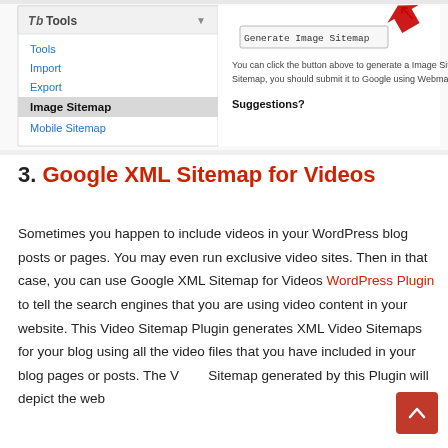[Figure (screenshot): Screenshot of a WordPress admin sidebar showing Tools menu with items: Tools, Import, Export, Image Sitemap (highlighted/bold), Mobile Sitemap. To the right is a 'Generate Image Sitemap' button with a red arrow pointing to it, and text below about clicking the button to generate an Image Sitemap and submit it to Google via Webmaster Tools. At the bottom is a 'Suggestions?' bold heading.]
3. Google XML Sitemap for Videos
Sometimes you happen to include videos in your WordPress blog posts or pages. You may even run exclusive video sites. Then in that case, you can use Google XML Sitemap for Videos WordPress Plugin to tell the search engines that you are using video content in your website. This Video Sitemap Plugin generates XML Video Sitemaps for your blog using all the video files that you have included in your blog pages or posts. The V... Sitemap generated by this Plugin will depict the web ...